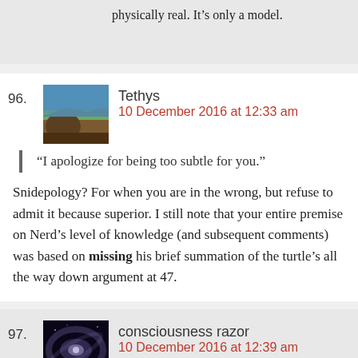physically real. It's only a model.
96. Tethys
10 December 2016 at 12:33 am
“I apologize for being too subtle for you.”
Snidepology? For when you are in the wrong, but refuse to admit it because superior. I still note that your entire premise on Nerd’s level of knowledge (and subsequent comments) was based on missing his brief summation of the turtle’s all the way down argument at 47.
97. consciousness razor
10 December 2016 at 12:39 am
Except the whole point is that you can’t be in a